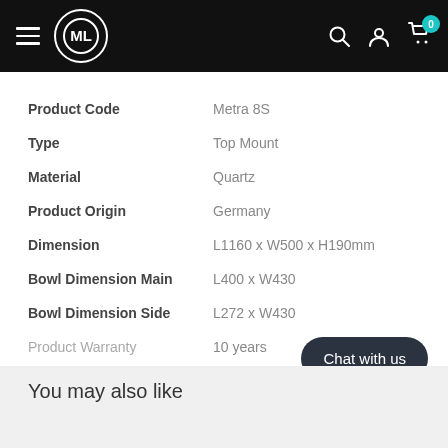ML (logo) — navigation bar with hamburger menu, search, user, cart (0)
| Attribute | Value |
| --- | --- |
| Product Code | Metra 8S |
| Type | Top Mount |
| Material | Quartz |
| Product Origin | Germany |
| Dimension | L1160 x W500 x H190mm |
| Bowl Dimension Main | L400 x W430 |
| Bowl Dimension Side | L272 x W430 |
| Product Warranty | 10 years |
+ View more
Chat with us
You may also like